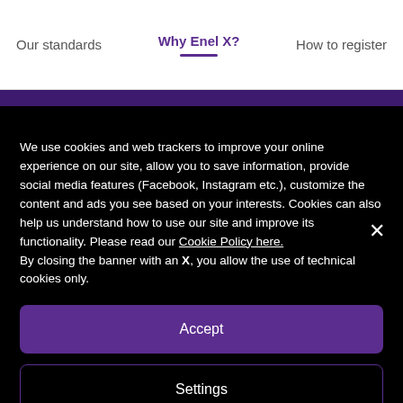Our standards | Why Enel X? | How to register
We use cookies and web trackers to improve your online experience on our site, allow you to save information, provide social media features (Facebook, Instagram etc.), customize the content and ads you see based on your interests. Cookies can also help us understand how to use our site and improve its functionality. Please read our Cookie Policy here.
By closing the banner with an X, you allow the use of technical cookies only.
Accept
Settings